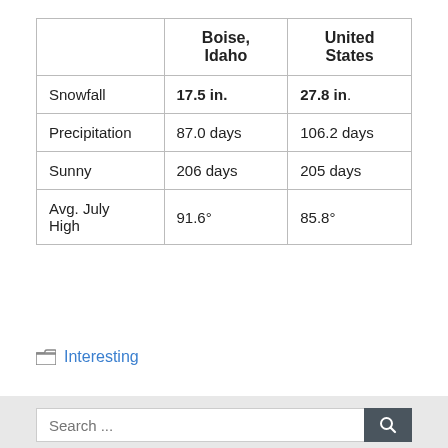|  | Boise, Idaho | United States |
| --- | --- | --- |
| Snowfall | 17.5 in. | 27.8 in. |
| Precipitation | 87.0 days | 106.2 days |
| Sunny | 206 days | 205 days |
| Avg. July High | 91.6° | 85.8° |
Interesting